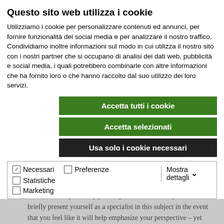Questo sito web utilizza i cookie
Utilizziamo i cookie per personalizzare contenuti ed annunci, per fornire funzionalità dei social media e per analizzare il nostro traffico. Condividiamo inoltre informazioni sul modo in cui utilizza il nostro sito con i nostri partner che si occupano di analisi dei dati web, pubblicità e social media, i quali potrebbero combinarle con altre informazioni che ha fornito loro o che hanno raccolto dal suo utilizzo dei loro servizi.
Accetta tutti i cookie
Accetta selezionati
Usa solo i cookie necessari
| ✓ Necessari | ☐ Preferenze | ☐ Statistiche | Mostra dettagli ∨ |
| ☐ Marketing |  |  |  |
The presentation is usually outstandingly short, and it should snare the reader immediately. Start by stating the issue you will address and explain why your argumentation. Here you can also briefly present yourself as a specialist in this subject in the event that you feel like it will help emphasize your perspective – yet don't make a decent attempt!
Next comes the body where you give reasons to the different sides of the argument before finally coming to an end result